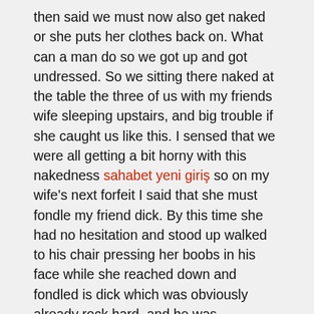then said we must now also get naked or she puts her clothes back on. What can a man do so we got up and got undressed. So we sitting there naked at the table the three of us with my friends wife sleeping upstairs, and big trouble if she caught us like this. I sensed that we were all getting a bit horny with this nakedness sahabet yeni giriş so on my wife's next forfeit I said that she must fondle my friend dick. By this time she had no hesitation and stood up walked to his chair pressing her boobs in his face while she reached down and fondled is dick which was obviously already rock hard, and he was suckingon the nipple in his face.Next round my friend wins the round and says he wants to see her suck my dick, so we got up and me standing in front of her she bent over and started sucking my dick while he watched. I was enjoying this so much that I had not noticed that he had got up from the table and